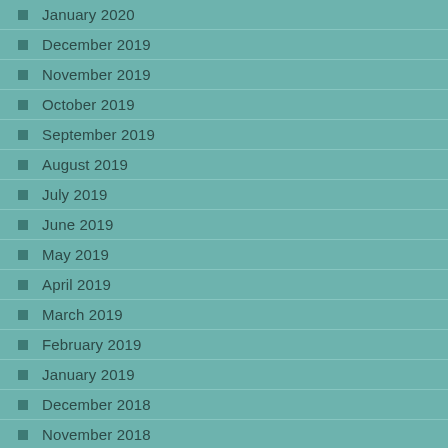January 2020
December 2019
November 2019
October 2019
September 2019
August 2019
July 2019
June 2019
May 2019
April 2019
March 2019
February 2019
January 2019
December 2018
November 2018